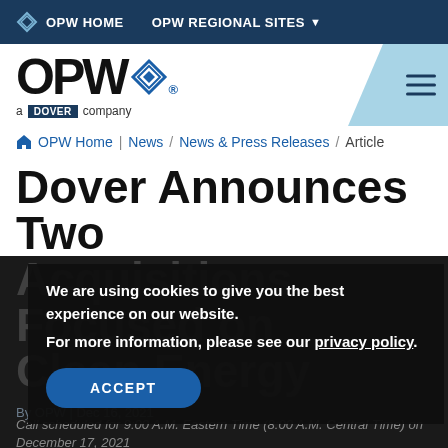OPW HOME   OPW REGIONAL SITES
[Figure (logo): OPW logo with diamond icon and 'a DOVER company' tagline, with light blue angled panel and hamburger menu icon on right]
OPW Home | News / News & Press Releases / Article
Dover Announces Two Acquisitions Focused on Clean Energy
We are using cookies to give you the best experience on our website.
For more information, please see our privacy policy.
ACCEPT
By OPW | Dec 16, 2021
Call scheduled for 9:00 A.M. Eastern Time (8:00 A.M. Central Time) on December 17, 2021